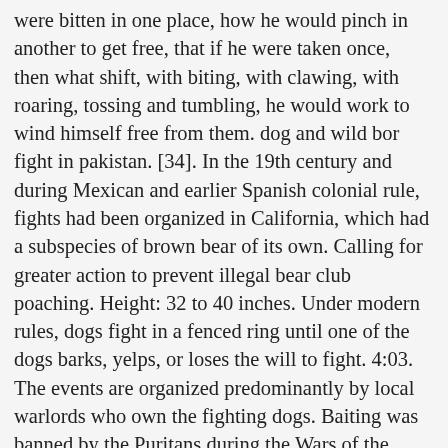were bitten in one place, how he would pinch in another to get free, that if he were taken once, then what shift, with biting, with clawing, with roaring, tossing and tumbling, he would work to wind himself free from them. dog and wild bor fight in pakistan. [34]. In the 19th century and during Mexican and earlier Spanish colonial rule, fights had been organized in California, which had a subspecies of brown bear of its own. Calling for greater action to prevent illegal bear club poaching. Height: 32 to 40 inches. Under modern rules, dogs fight in a fenced ring until one of the dogs barks, yelps, or loses the will to fight. 4:03. The events are organized predominantly by local warlords who own the fighting dogs. Baiting was banned by the Puritans during the Wars of the Three Kingdoms and the resultant Commonwealth of England, Scotland, and Ireland, which ended in 1660. [7]. Attempts to end the entertainment were first made in the Kingdom of England by the Puritans, with little effect. In some cases the bear was let loose, allowing it to chase after animals or people. Bear baiting has been